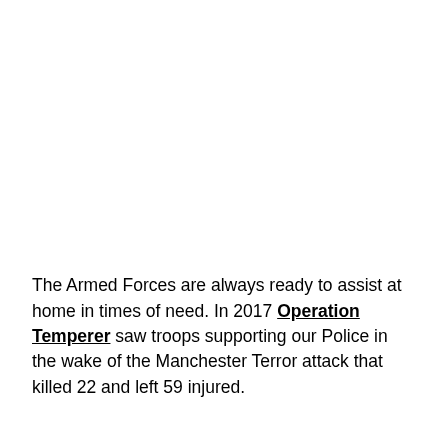The Armed Forces are always ready to assist at home in times of need. In 2017 Operation Temperer saw troops supporting our Police in the wake of the Manchester Terror attack that killed 22 and left 59 injured.